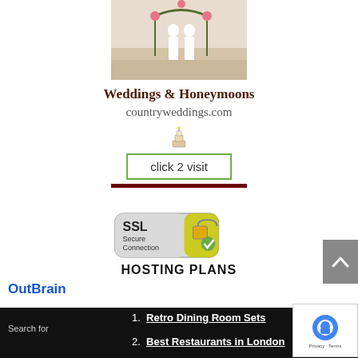[Figure (photo): Wedding photo showing couple in white attire standing under floral arch on a beach]
Weddings & Honeymoons
countryweddings.com
[Figure (illustration): Small wedding cake icon]
click 2 visit
[Figure (logo): SSL Secure Connection badge with padlock icon and HOSTING PLANS text below]
OutBrain
Search for
1. Retro Dining Room Sets
2. Best Restaurants in London